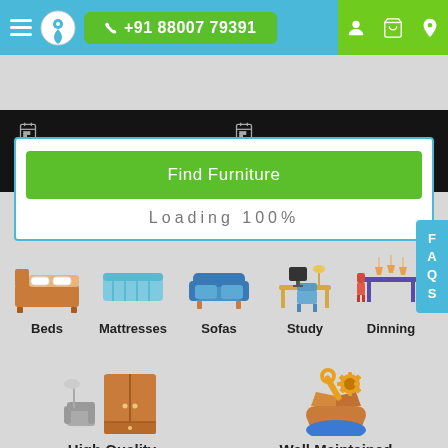[Figure (screenshot): Mobile app navigation bar with hamburger menu, logo, phone number +91 88007 79391, and icons for user, cart, location on green background]
[Figure (screenshot): Dark booking bar with calendar and clock icons for date/time selection]
[Figure (screenshot): Find Furniture green button with Loading 100% text below]
[Figure (screenshot): Furniture category icons: Beds, Mattresses, Sofas, Study, Dinning]
[Figure (screenshot): Feature icons: High Quality Products (wardrobe illustration), Well Maintained (tools/box illustration)]